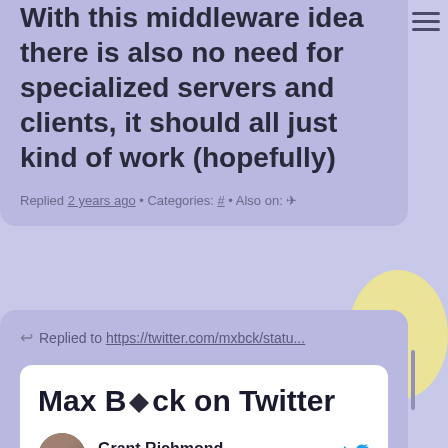With this middleware idea there is also no need for specialized servers and clients, it should all just kind of work (hopefully)
Replied 2 years ago • Categories: # • Also on: ✈
↩ Replied to https://twitter.com/mxbck/statu...
Max B◆ck on Twitter
Grant Richmond · Oct 7, 2019